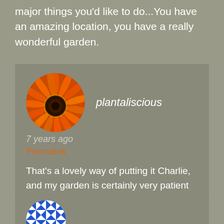major things you'd like to do...You have an amazing location, you have a really wonderful garden.
[Figure (photo): Circular avatar photo of an orange daisy/gerbera flower with dark center]
plantaliscious
7 years ago
Permalink
That's a lovely way of putting it Charlie, and my garden is certainly very patient with me, considering!
[Figure (illustration): Circular avatar with blue and white geometric/quilt pattern design]